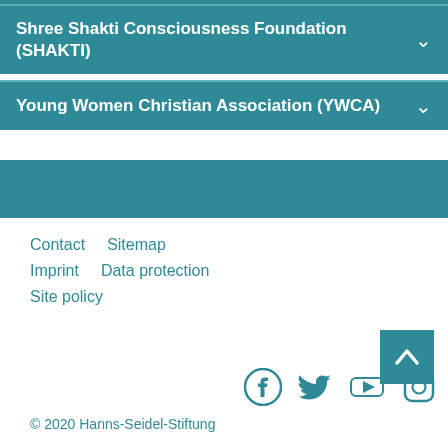Shree Shakti Consciousness Foundation (SHAKTI)
Young Women Christian Association (YWCA)
Contact   Sitemap
Imprint   Data protection
Site policy
[Figure (other): Social media icons: Facebook, Twitter, YouTube, Instagram]
© 2020 Hanns-Seidel-Stiftung